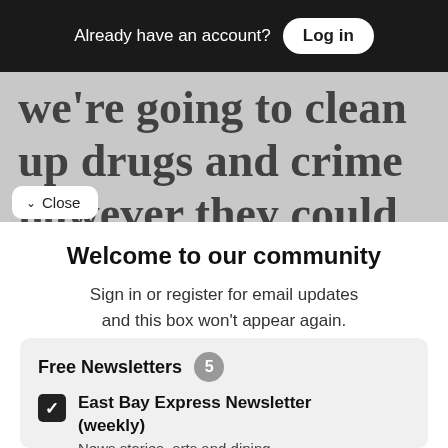Already have an account? Log in
we're going to clean up drugs and crime however they could, and the
Close
Welcome to our community
Sign in or register for email updates and this box won't appear again. We're grateful for your support.
By registering you confirm you are 21+.
Free Newsletters 5
East Bay Express Newsletter (weekly)
News stories, arts and dining